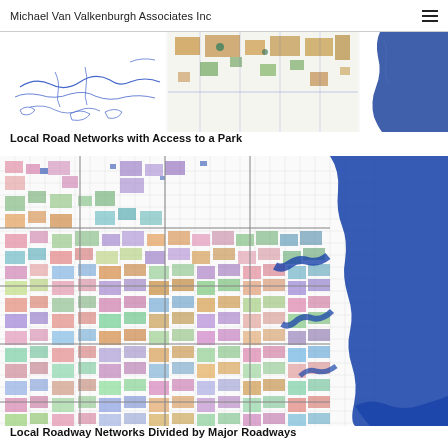Michael Van Valkenburgh Associates Inc
[Figure (map): Three map panels showing local road networks with access to a park — left panel shows sparse blue road outlines, middle panel shows colored park and land areas with brown/orange tones, right panel shows blue water body.]
Local Road Networks with Access to a Park
[Figure (map): Large detailed map of a metropolitan area showing local roadway networks divided by major roadways. Colorful patchwork of land parcels in greens, pinks, purples, oranges. Dark blue water body (lake/river) on the right side.]
Local Roadway Networks Divided by Major Roadways